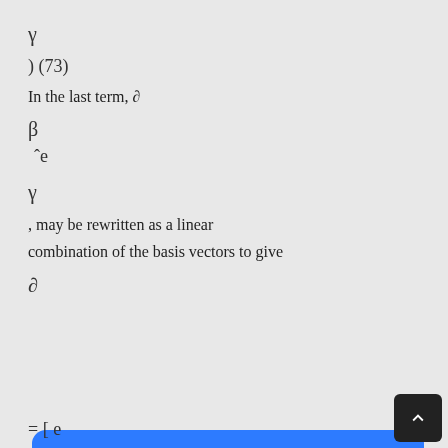In the last term, ∂
, may be rewritten as a linear combination of the basis vectors to give
This website uses cookies to ensure you get the best experience on our website. Our partners will collect data and use cookies for ad personalization and measurement. Learn how we and our partners collect and use data. OK